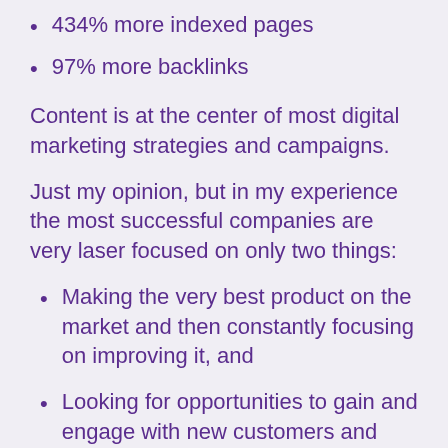434% more indexed pages
97% more backlinks
Content is at the center of most digital marketing strategies and campaigns.
Just my opinion, but in my experience the most successful companies are very laser focused on only two things:
Making the very best product on the market and then constantly focusing on improving it, and
Looking for opportunities to gain and engage with new customers and partners.
Notice that marketing is not in this list. There